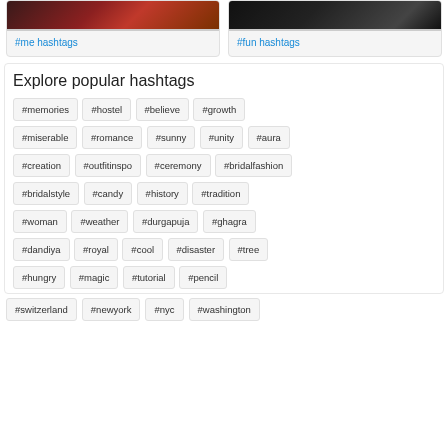[Figure (other): Card with dark red/brown gradient image for #me hashtags]
#me hashtags
[Figure (other): Card with dark/black gradient image for #fun hashtags]
#fun hashtags
Explore popular hashtags
#memories
#hostel
#believe
#growth
#miserable
#romance
#sunny
#unity
#aura
#creation
#outfitinspo
#ceremony
#bridalfashion
#bridalstyle
#candy
#history
#tradition
#woman
#weather
#durgapuja
#ghagra
#dandiya
#royal
#cool
#disaster
#tree
#hungry
#magic
#tutorial
#pencil
#switzerland
#newyork
#nyc
#washington